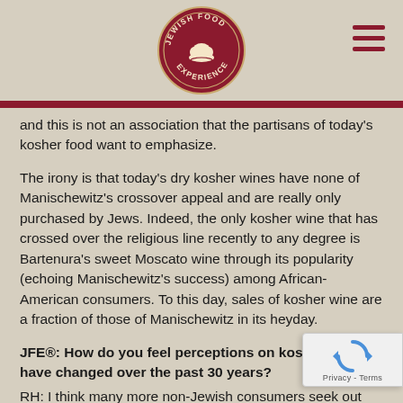Jewish Food Experience
and this is not an association that the partisans of today's kosher food want to emphasize.
The irony is that today's dry kosher wines have none of Manischewitz's crossover appeal and are really only purchased by Jews. Indeed, the only kosher wine that has crossed over the religious line recently to any degree is Bartenura's sweet Moscato wine through its popularity (echoing Manischewitz's success) among African-American consumers. To this day, sales of kosher wine are a fraction of those of Manischewitz in its heyday.
JFE®: How do you feel perceptions on kosher food have changed over the past 30 years?
RH: I think many more non-Jewish consumers seek out kosher food than 30 years ago. The market research on this is utterly conclusive. Kosher does carry an endorsement of quality, by virtue of its endorsement by rabbis whose commitment is to